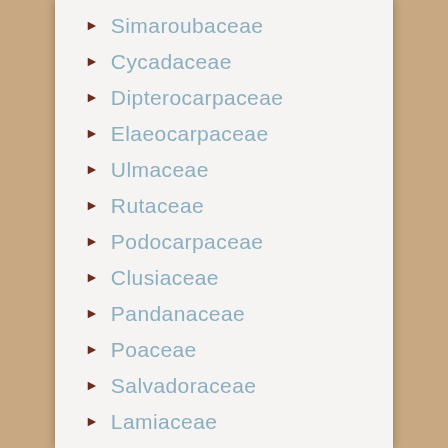Simaroubaceae
Cycadaceae
Dipterocarpaceae
Elaeocarpaceae
Ulmaceae
Rutaceae
Podocarpaceae
Clusiaceae
Pandanaceae
Poaceae
Salvadoraceae
Lamiaceae
Cactaceae
Aquifoliacee
Caricaceae